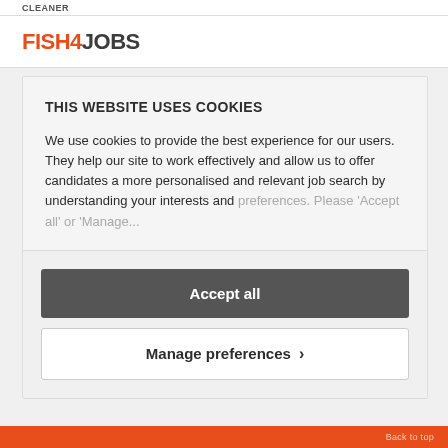CLEANER
[Figure (logo): Fish4Jobs logo with FISH4 in orange and JOBS in dark grey]
THIS WEBSITE USES COOKIES
We use cookies to provide the best experience for our users. They help our site to work effectively and allow us to offer candidates a more personalised and relevant job search by understanding your interests and preferences. Please 'Accept all' or 'Manage...
Accept all
Manage preferences >
Back to top